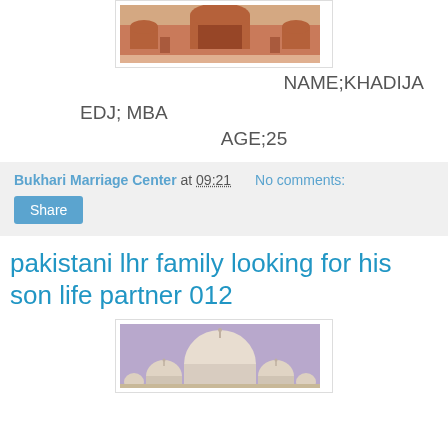[Figure (photo): Photo of a red sandstone mosque or heritage building facade]
NAME;KHADIJA
EDJ; MBA
AGE;25
Bukhari Marriage Center at 09:21    No comments:
Share
pakistani lhr family looking for his son life partner 012
[Figure (photo): Photo of a white domed mosque against a purple/lavender sky]